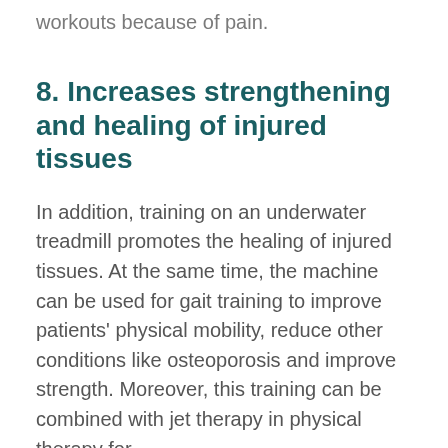workouts because of pain.
8. Increases strengthening and healing of injured tissues
In addition, training on an underwater treadmill promotes the healing of injured tissues. At the same time, the machine can be used for gait training to improve patients' physical mobility, reduce other conditions like osteoporosis and improve strength. Moreover, this training can be combined with jet therapy in physical therapy for